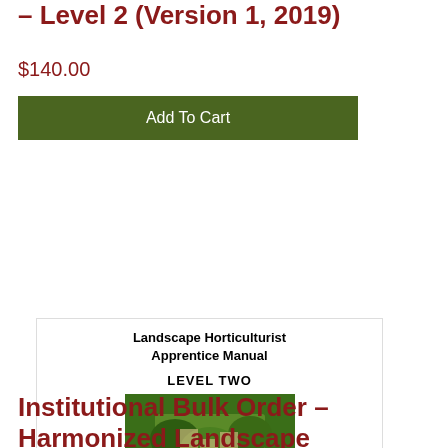– Level 2 (Version 1, 2019)
$140.00
Add To Cart
[Figure (illustration): Book cover for Landscape Horticulturist Apprentice Manual Level Two, showing a garden with stone steps, green shrubs, and colorful flowers, with HortEducation.ca logo and tagline 'Growing Careers in Horticulture']
Institutional Bulk Order – Harmonized Landscape